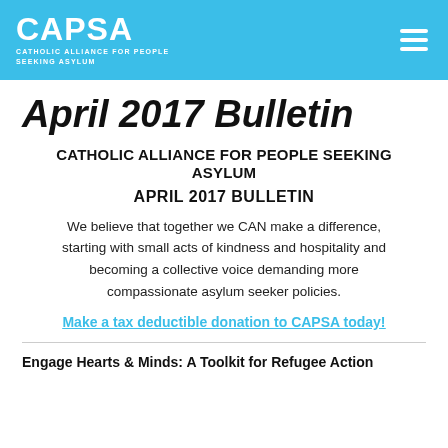CAPSA - Catholic Alliance for People Seeking Asylum
April 2017 Bulletin
CATHOLIC ALLIANCE FOR PEOPLE SEEKING ASYLUM
APRIL 2017 BULLETIN
We believe that together we CAN make a difference, starting with small acts of kindness and hospitality and becoming a collective voice demanding more compassionate asylum seeker policies.
Make a tax deductible donation to CAPSA today!
Engage Hearts & Minds: A Toolkit for Refugee Action